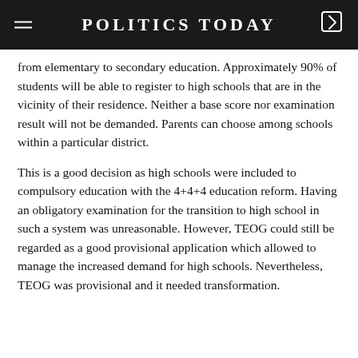POLITICS TODAY
from elementary to secondary education. Approximately 90% of students will be able to register to high schools that are in the vicinity of their residence. Neither a base score nor examination result will not be demanded. Parents can choose among schools within a particular district.
This is a good decision as high schools were included to compulsory education with the 4+4+4 education reform. Having an obligatory examination for the transition to high school in such a system was unreasonable. However, TEOG could still be regarded as a good provisional application which allowed to manage the increased demand for high schools. Nevertheless, TEOG was provisional and it needed transformation.